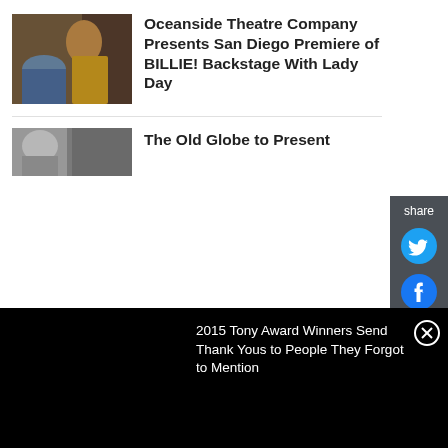[Figure (photo): Two performers on stage, one in a yellow dress]
Oceanside Theatre Company Presents San Diego Premiere of BILLIE! Backstage With Lady Day
[Figure (photo): Close-up of a person's face, partially visible]
The Old Globe to Present
share
2015 Tony Award Winners Send Thank Yous to People They Forgot to Mention